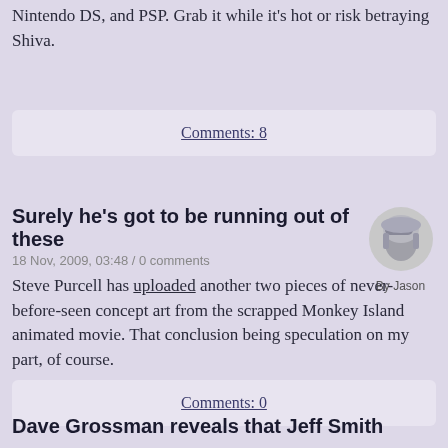Nintendo DS, and PSP. Grab it while it's hot or risk betraying Shiva.
Comments: 8
Surely he's got to be running out of these
18 Nov, 2009, 03:48 / 0 comments
[Figure (photo): Author avatar labeled 'By Jason' - appears to be a cartoon/illustration of a helmeted figure]
Steve Purcell has uploaded another two pieces of never-before-seen concept art from the scrapped Monkey Island animated movie. That conclusion being speculation on my part, of course.
Comments: 0
Dave Grossman reveals that Jeff Smith